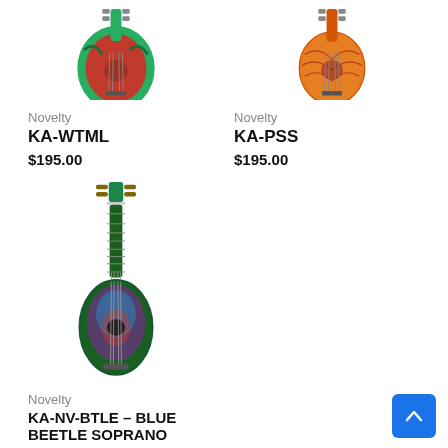[Figure (photo): Watermelon-shaped ukulele, top portion cropped, green body with red/watermelon finish]
[Figure (photo): Orange patterned pineapple-shaped ukulele, top portion cropped]
Novelty
KA-WTML
$195.00
Novelty
KA-PSS
$195.00
[Figure (photo): Green and purple blue beetle pineapple-shaped soprano ukulele, full body shown]
Novelty
KA-NV-BTLE – BLUE BEETLE SOPRANO